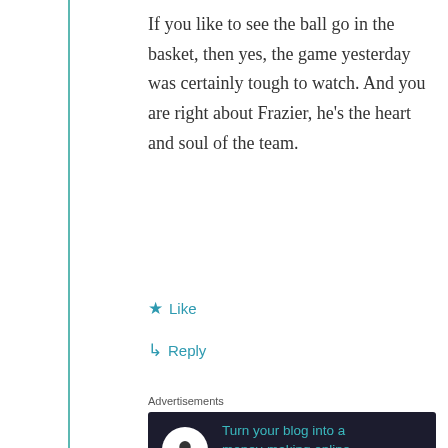If you like to see the ball go in the basket, then yes, the game yesterday was certainly tough to watch. And you are right about Frazier, he’s the heart and soul of the team.
★ Like
↳ Reply
Advertisements
[Figure (other): Advertisement banner with dark background: 'Turn your blog into a money-making online course.' with arrow and icon]
REPORT THIS AD
Bright Idea
February 7, 2016 at 2:46 pm
I’m having trouble understanding the number of